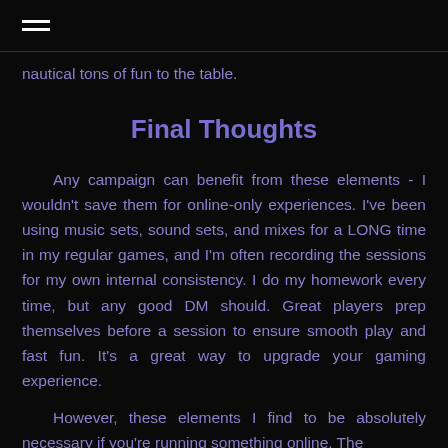≡
nautical tons of fun to the table.
Final Thoughts
Any campaign can benefit from these elements - I wouldn't save them for online-only experiences.  I've been using music sets, sound sets, and mixes for a LONG time in my regular games, and I'm often recording the sessions for my own internal consistency.  I do my homework every time, but any good DM should.  Great players prep themselves before a session to ensure smooth play and fast fun.  It's a great way to upgrade your gaming experience.

However, these elements I find to be absolutely necessary if you're running something online.  The